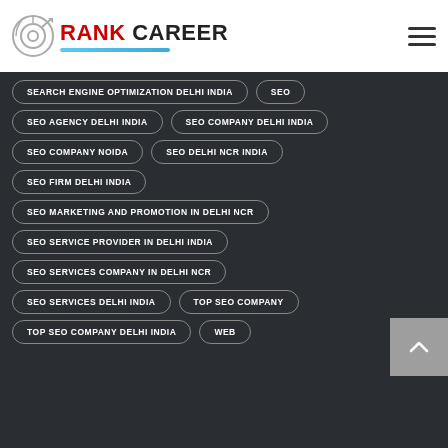RANK CAREER
SEARCH ENGINE OPTIMIZATION DELHI INDIA
SEO
SEO AGENCY DELHI INDIA
SEO COMPANY DELHI INDIA
SEO COMPANY NOIDA
SEO DELHI NCR INDIA
SEO FIRM DELHI INDIA
SEO MARKETING AND PROMOTION IN DELHI NCR
SEO SERVICE PROVIDER IN DELHI INDIA
SEO SERVICES COMPANY IN DELHI NCR
SEO SERVICES DELHI INDIA
TOP SEO COMPANY
TOP SEO COMPANY DELHI INDIA
WEB